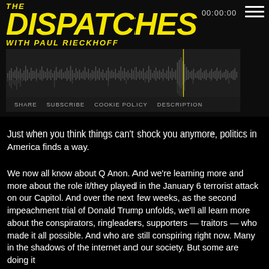THE DISPATCHES WITH PAUL RIECKHOFF
[Figure (other): Audio waveform player with timestamp 00:00:00 and navigation controls: SHARE, SUBSCRIBE, COOKIE POLICY, DESCRIPTION]
Just when you think things can't shock you anymore, politics in America finds a way.
We now all know about Q Anon. And we're learning more and more about the role it/they played in the January 6 terrorist attack on our Capitol. And over the next few weeks, as the second impeachment trial of Donald Trump unfolds, we'll all learn more about the conspirators, ringleaders, supporters — traitors — who made it all possible. And who are still conspiring right now. Many in the shadows of the internet and our society. But some are doing it